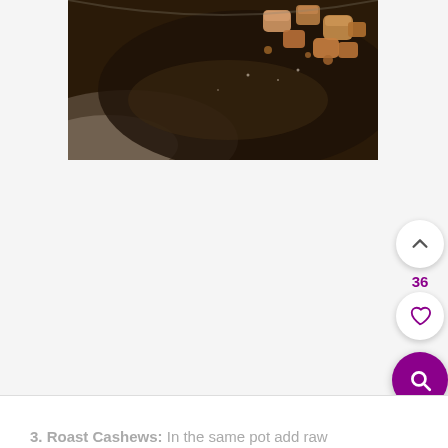[Figure (photo): Close-up photo of fried or roasted food pieces (cashews or meat) in a dark oiled pan/wok, viewed from above.]
36
3. Roast Cashews: In the same pot add raw